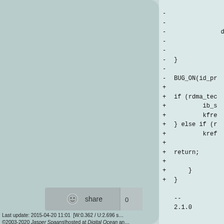Doug Ledford
Jason Gunthorpe
Michael Wang
"ira.weiny"
Michael Wang
"ira.weiny"
"Dave Goodell (dgoodell)"
"ira.weiny"
Michael Wang
Patch in this message
Get diff 1
-
-
-
-
-
-
-
-
+
+
+
+
+
+
+
+
+
+
+
case

defa

}
}

BUG_ON(id_pr

if (rdma_tec
        ib_s
        kfre
} else if (r
        kref

return;

}
}

--
2.1.0
[Figure (other): Reddit share button with count 0]
Last update: 2015-04-20 11:01   [W:0.362 / U:2.696 s…
©2003-2020 Jasper Spaans|hosted at Digital Ocean an…